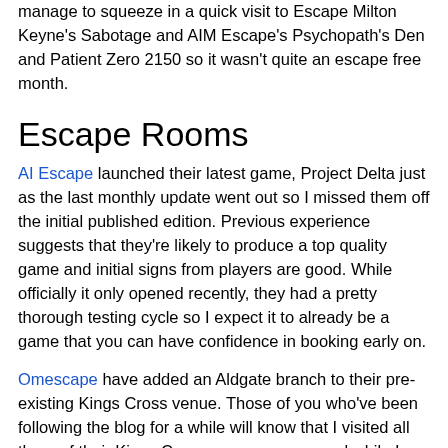manage to squeeze in a quick visit to Escape Milton Keyne's Sabotage and AIM Escape's Psychopath's Den and Patient Zero 2150 so it wasn't quite an escape free month.
Escape Rooms
AI Escape launched their latest game, Project Delta just as the last monthly update went out so I missed them off the initial published edition. Previous experience suggests that they're likely to produce a top quality game and initial signs from players are good. While officially it only opened recently, they had a pretty thorough testing cycle so I expect it to already be a game that you can have confidence in booking early on.
Omescape have added an Aldgate branch to their pre-existing Kings Cross venue. Those of you who've been following the blog for a while will know that I visited all three of their Kings Cross escape games and while I